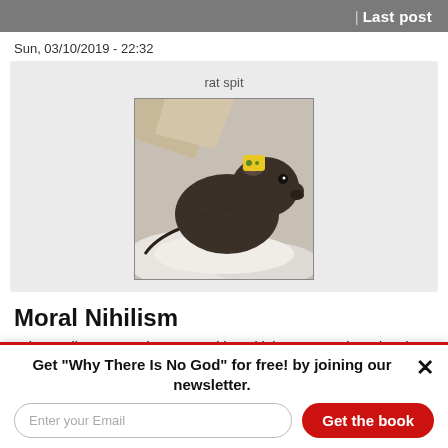| Last post
Sun, 03/10/2019 - 22:32
rat spit
[Figure (photo): A dark brown/black rat wearing a small yellow ear tag, sitting on white bedding material.]
Moral Nihilism
Is it morally wrong to have sex with multiple partners, knowing that you have a contagious venereal disease? Or is that just something really inconvenient for the other
Get "Why There Is No God" for free! by joining our newsletter.
Enter your Email
Get the book